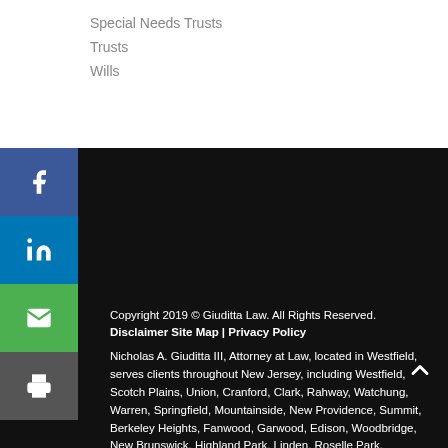Special Needs Trusts
Trusts
Wills
Copyright 2019 © Giuditta Law. All Rights Reserved.
Disclaimer Site Map | Privacy Policy

Nicholas A. Giuditta III, Attorney at Law, located in Westfield, serves clients throughout New Jersey, including Westfield, Scotch Plains, Union, Cranford, Clark, Rahway, Watchung, Warren, Springfield, Mountainside, New Providence, Summit, Berkeley Heights, Fanwood, Garwood, Edison, Woodbridge, New Brunswick, Highland Park, Linden, Roselle Park, Elizabeth, Millburn, Kenilworth, Union County, Essex County, Somerset County, Morris County and Middlesex County.